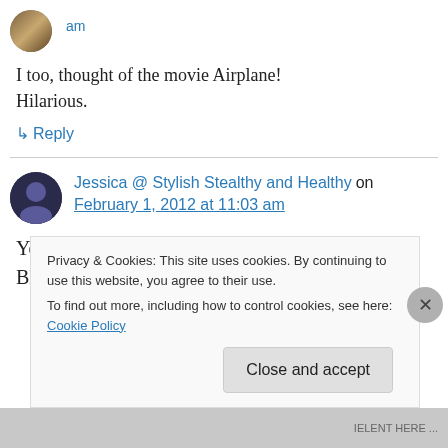am
I too, thought of the movie Airplane! Hilarious.
↳ Reply
Jessica @ Stylish Stealthy and Healthy on February 1, 2012 at 11:03 am
You are hilarious. Have you ever flown on Jet Blue? I've heard those pilots are hilarious
Privacy & Cookies: This site uses cookies. By continuing to use this website, you agree to their use.
To find out more, including how to control cookies, see here: Cookie Policy
Close and accept